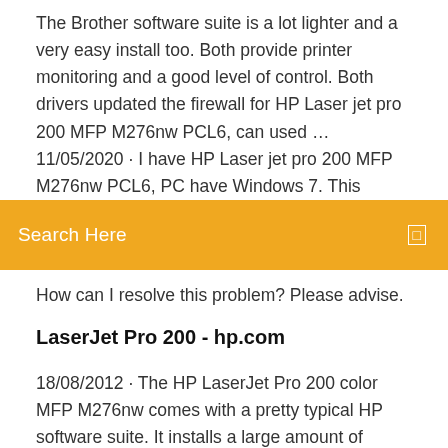The Brother software suite is a lot lighter and a very easy install too. Both provide printer monitoring and a good level of control. Both drivers updated the firewall for HP Laser jet pro 200 MFP M276nw PCL6, can used … 11/05/2020 · I have HP Laser jet pro 200 MFP M276nw PCL6, PC have Windows 7. This computer is 6 months old. I can previously scan, just recently can't scan.
[Figure (other): Orange search bar with text 'Search Here' and a small icon on the right]
How can I resolve this problem? Please advise.
LaserJet Pro 200 - hp.com
18/08/2012 · The HP LaserJet Pro 200 color MFP M276nw comes with a pretty typical HP software suite. It installs a large amount of software which isn't as large as I have seen in the past. The install was relatively quick for HP MFC's. The Brother software suite is a lot lighter and a very easy install too. Both provide printer monitoring and a good level of control. Both drivers updated the firewall for HP Laserjet Pro 200 Color